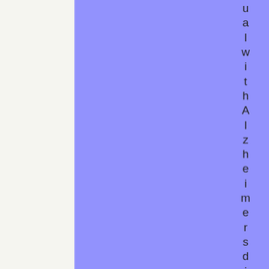[Figure (illustration): Large blue-purple rectangle occupying the left and center portion of the page, on a light cream background.]
ual with Alzheimer's disease